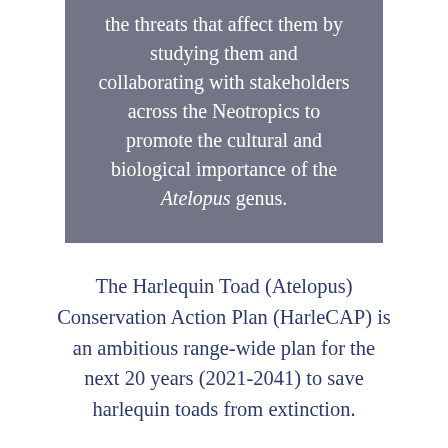the threats that affect them by studying them and collaborating with stakeholders across the Neotropics to promote the cultural and biological importance of the Atelopus genus.
The Harlequin Toad (Atelopus) Conservation Action Plan (HarleCAP) is an ambitious range-wide plan for the next 20 years (2021-2041) to save harlequin toads from extinction.